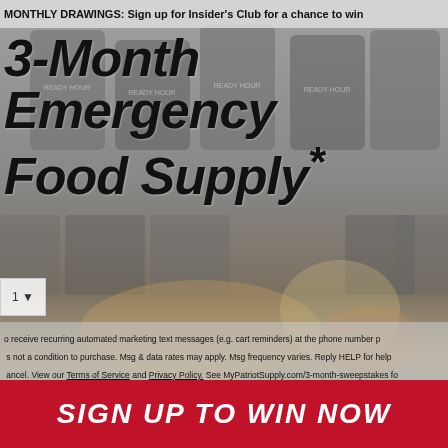[Figure (photo): Background photo of Ready Hour emergency food supply buckets and food items including beverages and prepared meals, rendered in muted grey tones]
MONTHLY DRAWINGS: Sign up for Insider's Club for a chance to win
3-Month Emergency Food Supply*
1 ▼
o receive recurring automated marketing text messages (e.g. cart reminders) at the phone number p... is not a condition to purchase. Msg & data rates may apply. Msg frequency varies. Reply HELP for help... ancel. View our Terms of Service and Privacy Policy. See MyPatriotSupply.com/3-month-sweepstakes fo...
SIGN UP TO WIN NOW